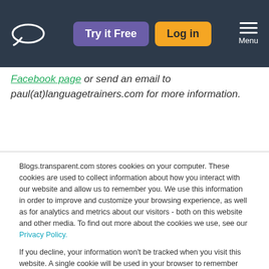Try it Free | Log in | Menu
Facebook page or send an email to paul(at)languagetrainers.com for more information.
Blogs.transparent.com stores cookies on your computer. These cookies are used to collect information about how you interact with our website and allow us to remember you. We use this information in order to improve and customize your browsing experience, as well as for analytics and metrics about our visitors - both on this website and other media. To find out more about the cookies we use, see our Privacy Policy.
If you decline, your information won't be tracked when you visit this website. A single cookie will be used in your browser to remember your preference not to be tracked.